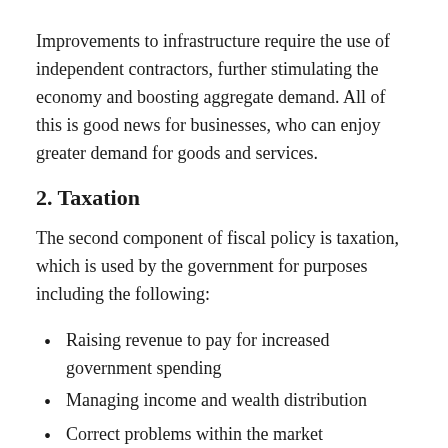Improvements to infrastructure require the use of independent contractors, further stimulating the economy and boosting aggregate demand. All of this is good news for businesses, who can enjoy greater demand for goods and services.
2. Taxation
The second component of fiscal policy is taxation, which is used by the government for purposes including the following:
Raising revenue to pay for increased government spending
Managing income and wealth distribution
Correct problems within the market